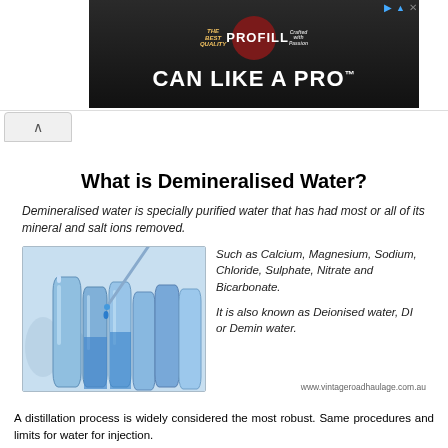[Figure (photo): Advertisement banner for PROFILL 'CAN LIKE A PRO' product showing canning equipment in background]
What is Demineralised Water?
Demineralised water is specially purified water that has had most or all of its mineral and salt ions removed.
[Figure (photo): Laboratory test tubes filled with blue liquid, with a pipette dropping blue liquid into one tube]
Such as Calcium, Magnesium, Sodium, Chloride, Sulphate, Nitrate and Bicarbonate.
It is also known as Deionised water, DI or Demin water.
www.vintageroadhaulage.com.au
A distillation process is widely considered the most robust. Same procedures and limits for water for injection.